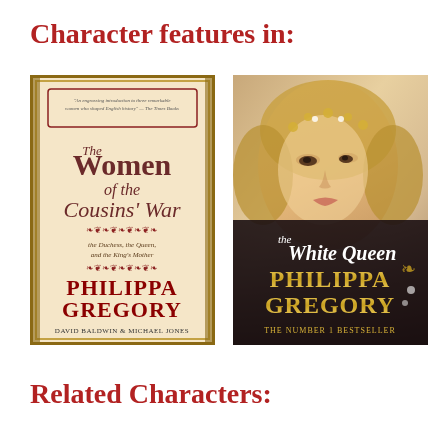Character features in:
[Figure (photo): Book cover of 'The Women of the Cousins' War' by Philippa Gregory, David Baldwin & Michael Jones. Cream/beige background with decorative borders, red ornamental dividers, title text in brown serif font, subtitle 'the Duchess, the Queen, and the King's Mother', and author names in large red and dark serif fonts.]
[Figure (photo): Book cover of 'The White Queen' by Philippa Gregory. Shows a close-up portrait of a blonde woman wearing a golden floral crown against a soft background. Title 'the White Queen' in white italic text and 'PHILIPPA GREGORY' in large gold letters, with 'THE NUMBER 1 BESTSELLER' at the bottom.]
Related Characters: